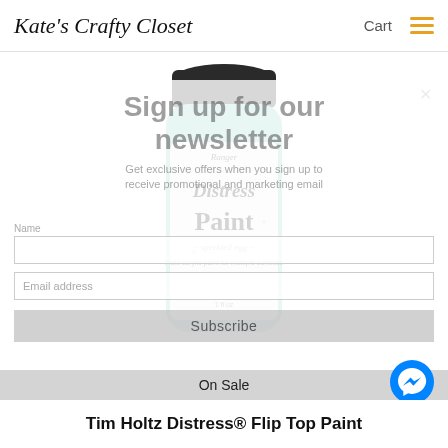Kate's Crafty Closet | Cart
[Figure (photo): A bottle of Tim Holtz Ranger Distress Paint in 'Speckled Egg' color with a mint/teal color and black flip top cap. Label reads 'Distress Paint - speckled egg - Fluid acrylic paint for multiple surfaces, 1 fl oz'.]
Sign up for our newsletter
Get exclusive offers when you sign up to receive promotional and marketing email
Subscribe
On Sale
Tim Holtz Distress® Flip Top Paint